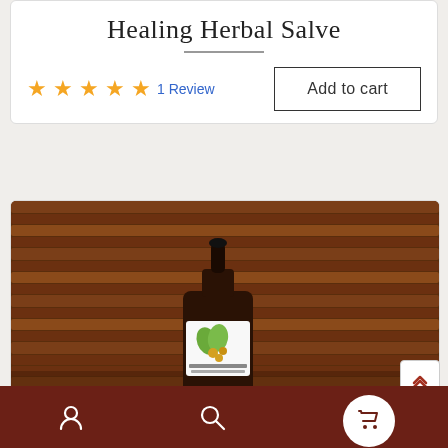Healing Herbal Salve
Add to cart
★★★★★ 1 Review
[Figure (photo): A dark amber glass dropper bottle with a white label showing golden jojoba or similar plant imagery, photographed against a background of stacked copper/brown bamboo or metallic rods on a wooden surface.]
Bottom navigation bar with user icon, search icon, and cart icon